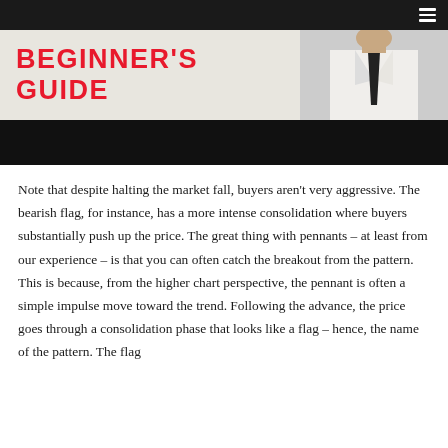[Figure (photo): Website navigation bar with dark background and hamburger menu icon in top right corner, followed by a banner image showing red bold text 'BEGINNER'S GUIDE' on the left and a person in business attire on the right, with a black bar below.]
Note that despite halting the market fall, buyers aren't very aggressive. The bearish flag, for instance, has a more intense consolidation where buyers substantially push up the price. The great thing with pennants – at least from our experience – is that you can often catch the breakout from the pattern. This is because, from the higher chart perspective, the pennant is often a simple impulse move toward the trend. Following the advance, the price goes through a consolidation phase that looks like a flag – hence, the name of the pattern. The flag